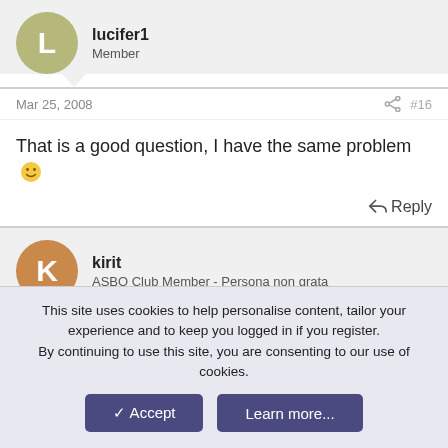lucifer1 - Member (avatar: L)
Mar 25, 2008  #16
That is a good question, I have the same problem 🙂
↩ Reply
kirit - ASBO Club Member - Persona non grata (avatar: K)
Mar 25, 2008  #17
does your picture break up as well lucifer?
This site uses cookies to help personalise content, tailor your experience and to keep you logged in if you register.
By continuing to use this site, you are consenting to our use of cookies.
✓ Accept   Learn more...